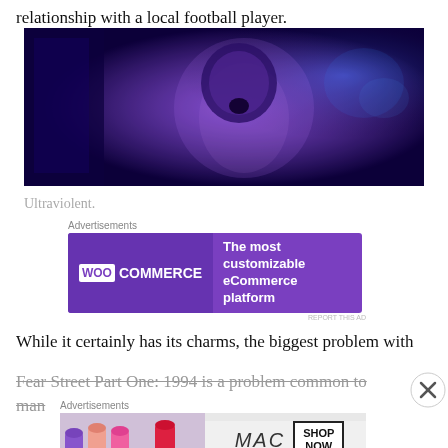relationship with a local football player.
[Figure (photo): Dark blue-tinted cinematic still of a person with an open mouth expression, illuminated by blue/purple lighting]
Ultraviolent.
[Figure (other): WooCommerce advertisement banner: 'The most customizable eCommerce platform']
While it certainly has its charms, the biggest problem with Fear Street Part One: 1994 is a problem common to man
[Figure (other): MAC cosmetics advertisement with lipstick products and 'SHOP NOW' button]